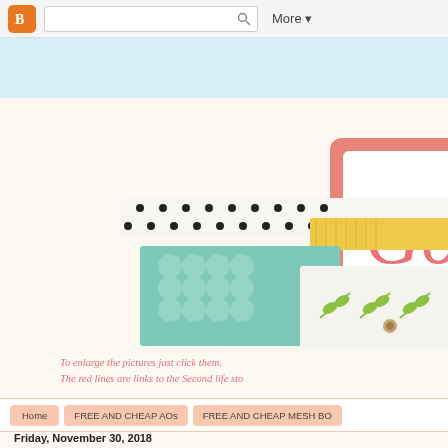Blogger navigation bar with search and More button
[Figure (illustration): Blog header illustration showing layered decorative paper/fabric strips (black polka dot ribbon, yellow grosgrain ribbon, teal quatrefoil patterned paper, white paper with green leaf sprigs) alongside a pink-bordered price tag shape with cursive text 'Go' in pink on white background with a brad/eyelet fastener]
To enlarge the pictures just click them.
The red lines are links to the Second life sto
Home | FREE AND CHEAP AOs | FREE AND CHEAP MESH BO
Friday, November 30, 2018